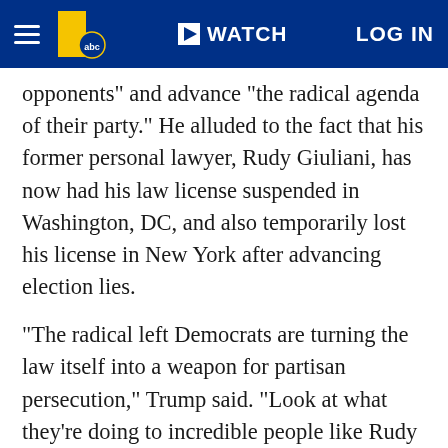WATCH | LOG IN
opponents" and advance "the radical agenda of their party." He alluded to the fact that his former personal lawyer, Rudy Giuliani, has now had his law license suspended in Washington, DC, and also temporarily lost his license in New York after advancing election lies.
"The radical left Democrats are turning the law itself into a weapon for partisan persecution," Trump said. "Look at what they're doing to incredible people like Rudy Giuliani."
"There are now two sets of laws in this country -- one for the left wing mob, the rioters and the rampagers ... who can do whatever the hell they want to whomever